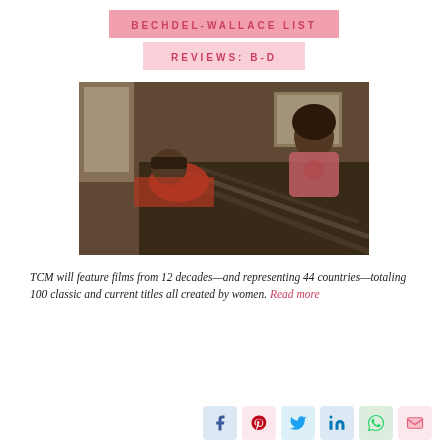BECHDEL-WALLACE LIST
REVIEWS: B-D
[Figure (photo): Two women in a room; one lying on a couch/bed wearing a hat and red jacket, the other sitting up in a pink t-shirt looking down at the first person.]
TCM will feature films from 12 decades—and representing 44 countries—totaling 100 classic and current titles all created by women. Read more
[Figure (infographic): Social share buttons: Facebook, Pinterest, Twitter, LinkedIn, WhatsApp, Email]